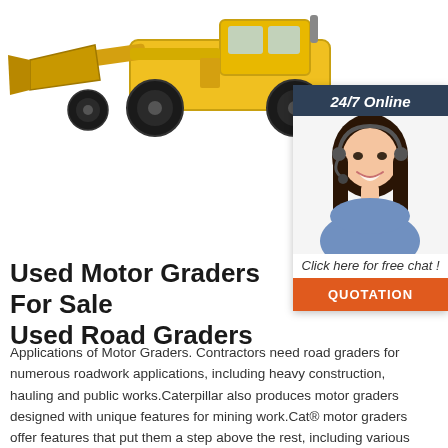[Figure (photo): Yellow construction wheel loader / front-end loader vehicle photographed on white background, showing large tires and bucket arm]
[Figure (photo): Customer service sidebar widget with '24/7 Online' header in dark navy background, photo of smiling woman with headset, 'Click here for free chat!' text, and orange QUOTATION button]
Used Motor Graders For Sale Used Road Graders
Applications of Motor Graders. Contractors need road graders for numerous roadwork applications, including heavy construction, hauling and public works.Caterpillar also produces motor graders designed with unique features for mining work.Cat® motor graders offer features that put them a step above the rest, including various efficiency measures to reduce operating costs, user ...